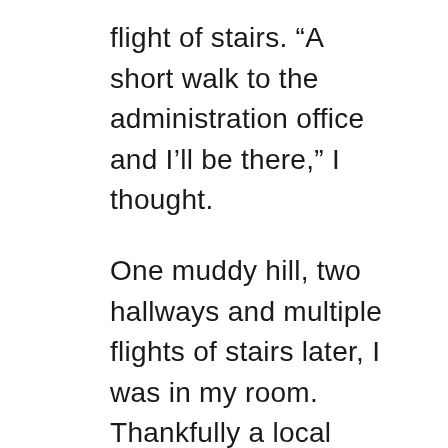flight of stairs. “A short walk to the administration office and I’ll be there,” I thought.
One muddy hill, two hallways and multiple flights of stairs later, I was in my room. Thankfully a local Singaporean student offered to help me along the way or I think I would still be stuck on that muddy hill with all of my bags.
I flopped on my bed in my new, spacious and bright room to call home. My parents were glad to hear my voice and I was glad to hear theirs, too. I sat up and smiled; even though I was exhausted, drenched in sweat and alone, I was happy to have